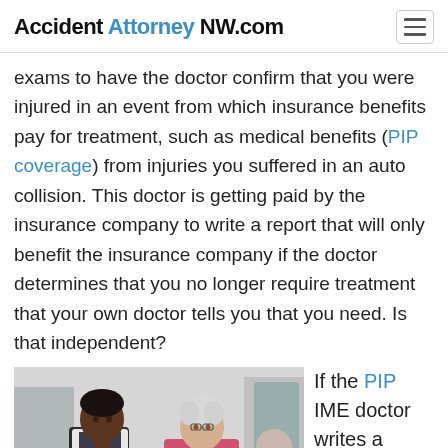Accident Attorney NW.com
exams to have the doctor confirm that you were injured in an event from which insurance benefits pay for treatment, such as medical benefits (PIP coverage) from injuries you suffered in an auto collision. This doctor is getting paid by the insurance company to write a report that will only benefit the insurance company if the doctor determines that you no longer require treatment that your own doctor tells you that you need. Is that independent?
[Figure (photo): A Black female doctor with a stethoscope consulting with an elderly white-haired female patient in a medical office setting.]
If the PIP IME doctor writes a report